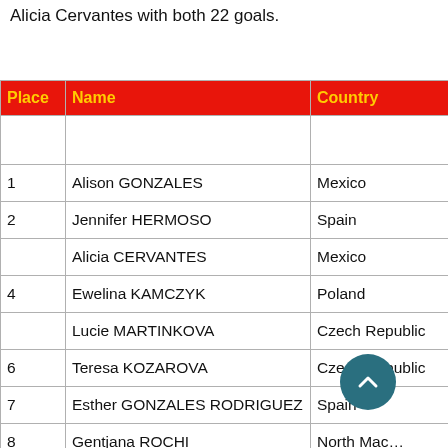Alicia Cervantes with both 22 goals.
| Place | Name | Country | Club |
| --- | --- | --- | --- |
|  |  |  |  |
| 1 | Alison GONZALES | Mexico | FC… |
| 2 | Jennifer HERMOSO | Spain | FC… |
|  | Alicia CERVANTES | Mexico | CD… |
| 4 | Ewelina KAMCZYK | Poland | GK… |
|  | Lucie MARTINKOVA | Czech Republic | Sp… |
| 6 | Teresa KOZAROVA | Czech Republic | Sla… |
| 7 | Esther GONZALES RODRIGUEZ | Spain | Le… |
| 8 | Gentjana ROCHI | North Macedonia | Ku… |
| 9 | Emily GIELNIK | Australia | Bri… |